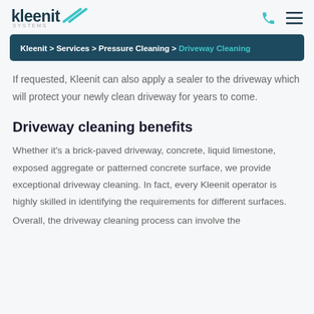kleenit [logo]
Kleenit > Services > Pressure Cleaning > Driveway Cleaning
If requested, Kleenit can also apply a sealer to the driveway which will protect your newly clean driveway for years to come.
Driveway cleaning benefits
Whether it's a brick-paved driveway, concrete, liquid limestone, exposed aggregate or patterned concrete surface, we provide exceptional driveway cleaning. In fact, every Kleenit operator is highly skilled in identifying the requirements for different surfaces.
Overall, the driveway cleaning process can involve the